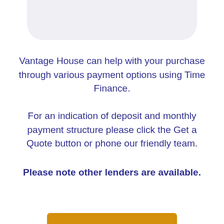[Figure (other): Rounded rectangle card shape at the top of the page, light gray background]
Vantage House can help with your purchase through various payment options using Time Finance.
For an indication of deposit and monthly payment structure please click the Get a Quote button or phone our friendly team.
Please note other lenders are available.
[Figure (other): Gold/amber colored button bar at the bottom of the page]